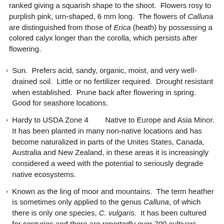ranked giving a squarish shape to the shoot. Flowers rosy to purplish pink, urn-shaped, 6 mm long. The flowers of Calluna are distinguished from those of Erica (heath) by possessing a colored calyx longer than the corolla, which persists after flowering.
Sun. Prefers acid, sandy, organic, moist, and very well-drained soil. Little or no fertilizer required. Drought resistant when established. Prune back after flowering in spring. Good for seashore locations.
Hardy to USDA Zone 4       Native to Europe and Asia Minor. It has been planted in many non-native locations and has become naturalized in parts of the Unites States, Canada, Australia and New Zealand, in these areas it is increasingly considered a weed with the potential to seriously degrade native ecosystems.
Known as the ling of moor and mountains. The term heather is sometimes only applied to the genus Calluna, of which there is only one species, C. vulgaris. It has been cultured for centuries and there are reportedly over 700 cultivars, possibly over 1,000. The three genera commonly called heath and heathers are Calluna, Erica,